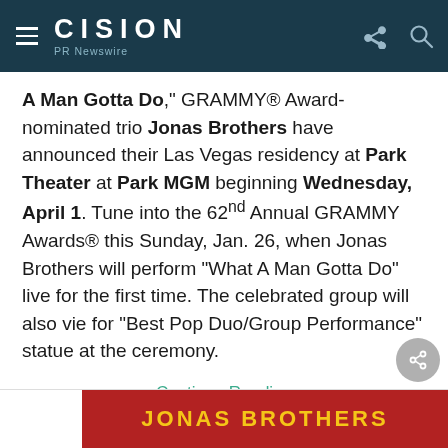CISION PR Newswire
A Man Gotta Do," GRAMMY® Award-nominated trio Jonas Brothers have announced their Las Vegas residency at Park Theater at Park MGM beginning Wednesday, April 1. Tune into the 62nd Annual GRAMMY Awards® this Sunday, Jan. 26, when Jonas Brothers will perform "What A Man Gotta Do" live for the first time. The celebrated group will also vie for "Best Pop Duo/Group Performance" statue at the ceremony.
Continue Reading
[Figure (photo): Jonas Brothers banner — dark red background with 'JONAS BROTHERS' in yellow bold text]